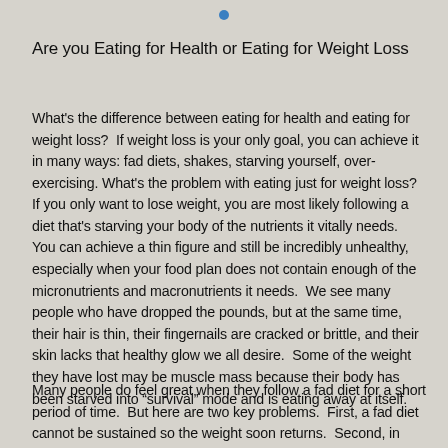Are you Eating for Health or Eating for Weight Loss
What's the difference between eating for health and eating for weight loss?  If weight loss is your only goal, you can achieve it in many ways: fad diets, shakes, starving yourself, over-exercising. What's the problem with eating just for weight loss?  If you only want to lose weight, you are most likely following a diet that's starving your body of the nutrients it vitally needs.  You can achieve a thin figure and still be incredibly unhealthy, especially when your food plan does not contain enough of the micronutrients and macronutrients it needs.  We see many people who have dropped the pounds, but at the same time, their hair is thin, their fingernails are cracked or brittle, and their skin lacks that healthy glow we all desire.  Some of the weight they have lost may be muscle mass because their body has been starved into “survival” mode and is eating away at itself.
Many people do feel great when they follow a fad diet for a short period of time.  But here are two key problems.  First, a fad diet cannot be sustained so the weight soon returns.  Second, in order to